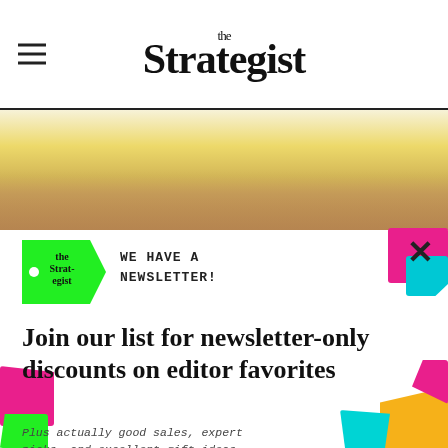the Strategist
[Figure (photo): Close-up of a person wearing yellow/butter-colored underwear/bikini bottoms against a light background]
[Figure (logo): The Strategist green price-tag logo with text 'the Strat-egist']
WE HAVE A NEWSLETTER!
Join our list for newsletter-only discounts on editor favorites
Plus actually good sales, expert picks, and excellent gift ideas
Enter email here
SIGN ME UP
NO THANKS